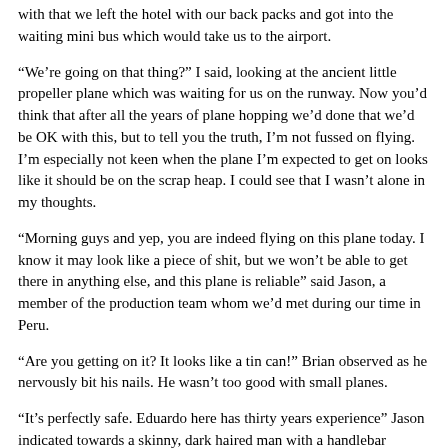with that we left the hotel with our back packs and got into the waiting mini bus which would take us to the airport.
“We’re going on that thing?” I said, looking at the ancient little propeller plane which was waiting for us on the runway. Now you’d think that after all the years of plane hopping we’d done that we’d be OK with this, but to tell you the truth, I’m not fussed on flying. I’m especially not keen when the plane I’m expected to get on looks like it should be on the scrap heap. I could see that I wasn’t alone in my thoughts.
“Morning guys and yep, you are indeed flying on this plane today. I know it may look like a piece of shit, but we won’t be able to get there in anything else, and this plane is reliable” said Jason, a member of the production team whom we’d met during our time in Peru.
“Are you getting on it? It looks like a tin can!” Brian observed as he nervously bit his nails. He wasn’t too good with small planes.
“It’s perfectly safe. Eduardo here has thirty years experience” Jason indicated towards a skinny, dark haired man with a handlebar moustache who was wearing a pilot’s shirt and black trousers “isn’t that right Eduardo”
Eduardo nodded and smiled. I wondered whether he spoke